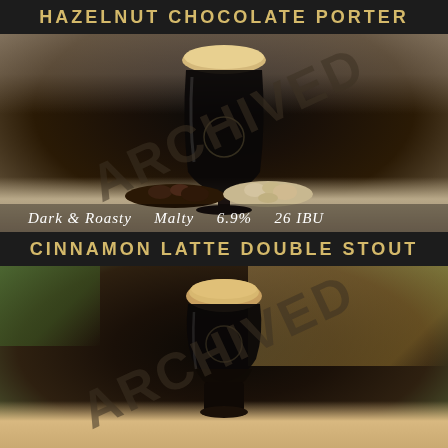HAZELNUT CHOCOLATE PORTER
[Figure (photo): Dark porter beer in a tulip glass with hazelnuts and chocolate pieces on a wooden table, with ARCHIVED watermark overlay]
Dark & Roasty   Malty   6.9%   26 IBU
CINNAMON LATTE DOUBLE STOUT
[Figure (photo): Dark stout beer in a tulip glass on a wooden table with green plant in background, with ARCHIVED watermark overlay]